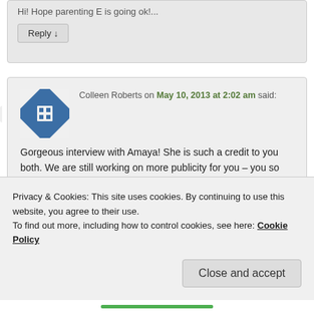Hi! Hope parenting E is going ok!
Reply ↓
[Figure (illustration): Blue geometric avatar icon with grid pattern for Colleen Roberts]
Colleen Roberts on May 10, 2013 at 2:02 am said:
Gorgeous interview with Amaya! She is such a credit to you both. We are still working on more publicity for you – you so deserve it! xx
Privacy & Cookies: This site uses cookies. By continuing to use this website, you agree to their use.
To find out more, including how to control cookies, see here: Cookie Policy
Close and accept